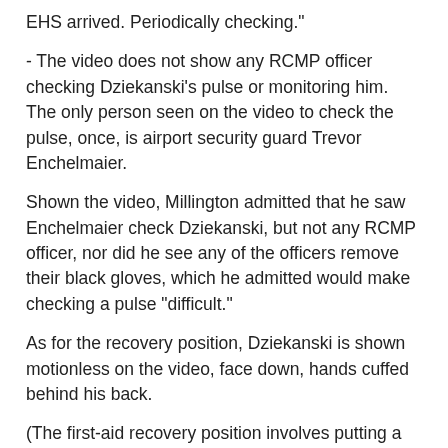EHS arrived. Periodically checking."
- The video does not show any RCMP officer checking Dziekanski's pulse or monitoring him. The only person seen on the video to check the pulse, once, is airport security guard Trevor Enchelmaier.
Shown the video, Millington admitted that he saw Enchelmaier check Dziekanski, but not any RCMP officer, nor did he see any of the officers remove their black gloves, which he admitted would make checking a pulse "difficult."
As for the recovery position, Dziekanski is shown motionless on the video, face down, hands cuffed behind his back.
(The first-aid recovery position involves putting a victim on their side, head tilted, arms raising the body, legs slightly bent and crossed below the knee.)
"He wasn't in anything remotely resembling the recovery position," testified Richmond Fire Capt. Kirby Graeme, the first responder to reach Dziekanski.